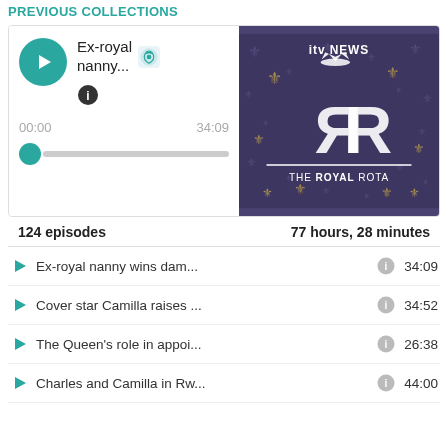PREVIOUS COLLECTIONS
[Figure (screenshot): Podcast player card showing 'Ex-royal nanny...' episode with play button, timestamp 00:00 / 34:09, and progress bar on the left; ITV News The Royal Rota podcast cover art on the right]
124 episodes   77 hours, 28 minutes
Ex-royal nanny wins dam...   34:09
Cover star Camilla raises ...   34:52
The Queen's role in appoi...   26:38
Charles and Camilla in Rw...   44:00